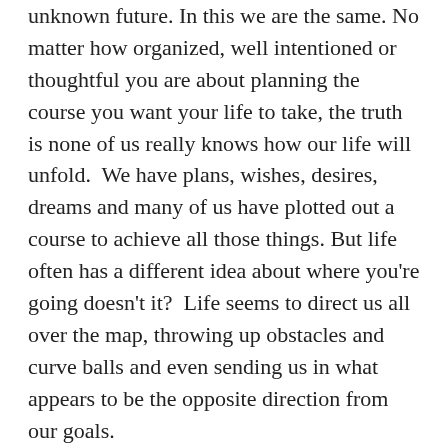unknown future. In this we are the same. No matter how organized, well intentioned or thoughtful you are about planning the course you want your life to take, the truth is none of us really knows how our life will unfold.  We have plans, wishes, desires, dreams and many of us have plotted out a course to achieve all those things. But life often has a different idea about where you're going doesn't it?  Life seems to direct us all over the map, throwing up obstacles and curve balls and even sending us in what appears to be the opposite direction from our goals.
When I was in my 20's, I had my life very clearly planned out. In fact, most of it was set out in my mind as a teenager. I was more than a little bit Type A and a bit of an over-achiever, but still far from a perfectionist thank goodness. I knew what I wanted and I was adamant that